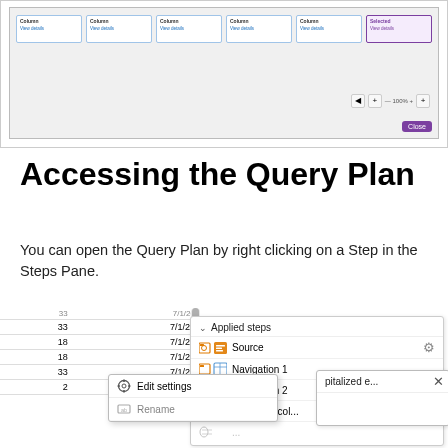[Figure (screenshot): Screenshot of a Power Query or similar data tool showing card-style column tiles with 'View details' links and navigation/close controls at the bottom]
Accessing the Query Plan
You can open the Query Plan by right clicking on a Step in the Steps Pane.
[Figure (screenshot): Screenshot showing a data table on the left with numeric rows and date values, overlaid with an Applied Steps pane (Source, Navigation 1, Navigation 2, Removed col...), a right-click context menu (Edit settings, Rename), and a tooltip popup showing 'pitalized e...' with a close button.]